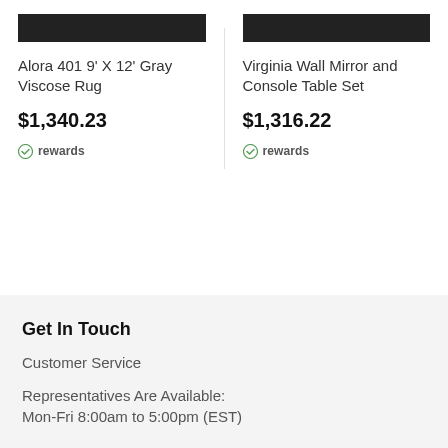[Figure (photo): Dark image bar for Alora 401 9' X 12' Gray Viscose Rug product]
Alora 401 9' X 12' Gray Viscose Rug
$1,340.23
rewards
[Figure (photo): Dark image bar for Virginia Wall Mirror and Console Table Set product]
Virginia Wall Mirror and Console Table Set
$1,316.22
rewards
Get In Touch
Customer Service
Representatives Are Available:
Mon-Fri 8:00am to 5:00pm (EST)